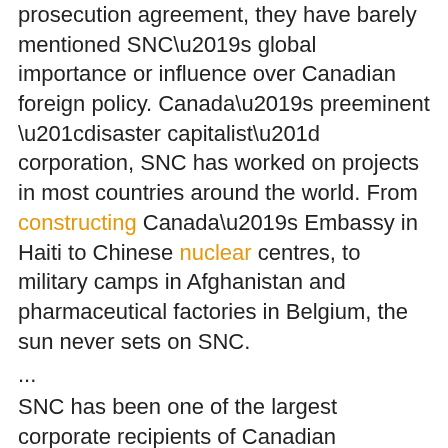prosecution agreement, they have barely mentioned SNC’s global importance or influence over Canadian foreign policy. Canada’s preeminent “disaster capitalist” corporation, SNC has worked on projects in most countries around the world. From constructing Canada’s Embassy in Haiti to Chinese nuclear centres, to military camps in Afghanistan and pharmaceutical factories in Belgium, the sun never sets on SNC.
...
SNC has been one of the largest corporate recipients of Canadian “aid.” The company has had entire departments dedicated to applying for Canadian International Development Agency (CIDA), UN and World Bank funded projects. SNC’s first international contract, in 1963 in India, was financed by Canadian aid and led to further work in that country. In the late 1960s the firm was hired to manage CIDA offices in African countries where Canada had no diplomatic representation. In the late 1980s CIDA contracted SNC to produce a feasibility study for the Three